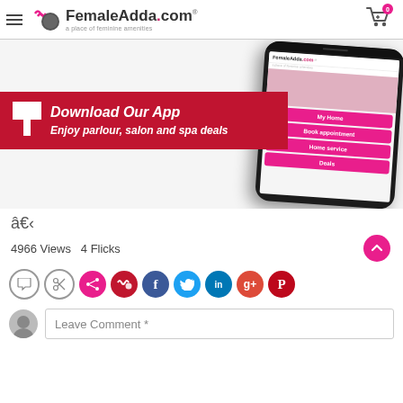FemaleAdda.com — a place of feminine amenities
[Figure (screenshot): FemaleAdda.com app download banner with a smartphone showing the app interface. Red banner reads 'Download Our App' with a white arrow icon, and 'Enjoy parlour, salon and spa deals' below.]
â€‹
4966 Views  4 Flicks
[Figure (infographic): Social sharing icons row: comment bubble, scissors/edit icon, share icon (pink), wave icon (red/pink), Facebook (blue), Twitter (cyan), LinkedIn (blue), Google+ (red), Pinterest (red)]
Leave Comment *